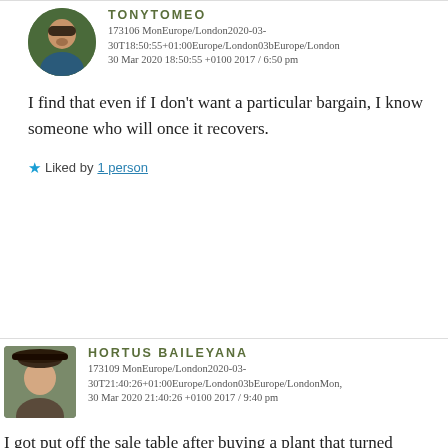TONYTOMEO
173106 MonEurope/London2020-03-30T18:50:55+01:00Europe/London03bEurope/London 30 Mar 2020 18:50:55 +0100 2017 / 6:50 pm
I find that even if I don't want a particular bargain, I know someone who will once it recovers.
Liked by 1 person
HORTUS BAILEYANA
173109 MonEurope/London2020-03-30T21:40:26+01:00Europe/London03bEurope/LondonMon, 30 Mar 2020 21:40:26 +0100 2017 / 9:40 pm
I got put off the sale table after buying a plant that turned